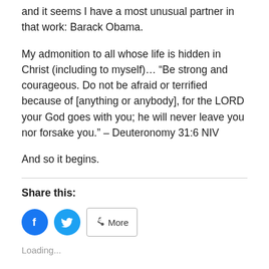and it seems I have a most unusual partner in that work: Barack Obama.
My admonition to all whose life is hidden in Christ (including to myself)… “Be strong and courageous. Do not be afraid or terrified because of [anything or anybody], for the LORD your God goes with you; he will never leave you nor forsake you.” – Deuteronomy 31:6 NIV
And so it begins.
Share this:
[Figure (other): Social share buttons: Facebook (blue circle with f icon), Twitter (blue circle with bird icon), and a More button with share icon]
Loading...